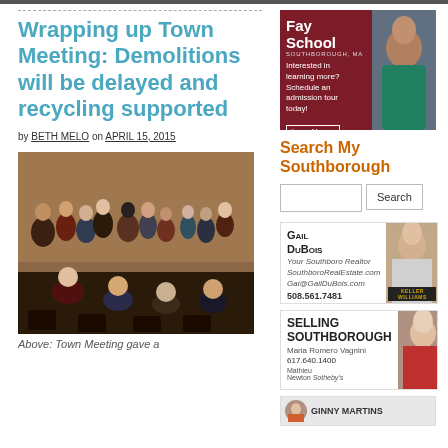Wrapping up Town Meeting: Demolitions will be delayed and recycling supported
by BETH MELO on APRIL 15, 2015
[Figure (photo): Crowd of people at Town Meeting, standing and seated in an auditorium with wooden chairs]
Above: Town Meeting gave a
[Figure (advertisement): Fay School Southborough MA advertisement - Interested in learning more? Schedule an admission tour today! Learn More button, with photo of child]
Search My Southborough
[Figure (advertisement): Gail DuBois Your Southboro Realtor, SouthboroRealEstate.com, Gai@GailDuBois.com, 508.561.7481, Keller Williams]
[Figure (advertisement): Selling Southborough - Maria Romero Vagnini, 617.640.1400, Mathieu Newton Sotheby's International Realty]
[Figure (advertisement): Ginny Martins advertisement]